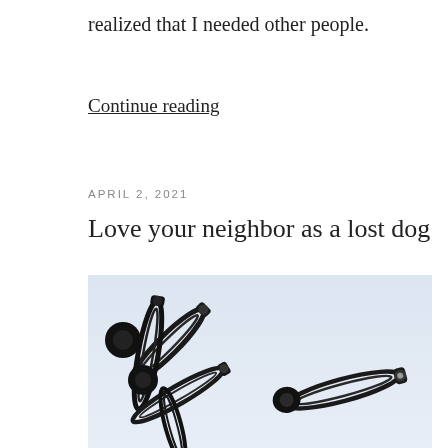realized that I needed other people.
Continue reading
APRIL 2, 2021
Love your neighbor as a lost dog
[Figure (photo): Close-up photograph of multiple black safety pins scattered on a light blue/white background. The pins are arranged at various angles, with some overlapping each other.]